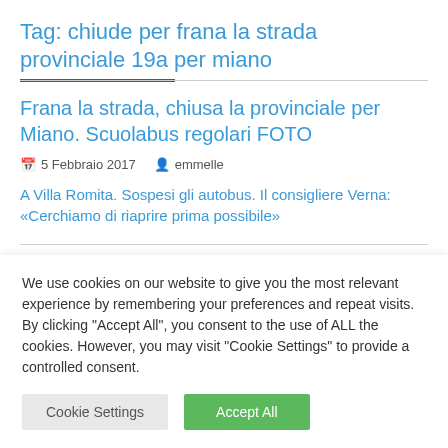Tag: chiude per frana la strada provinciale 19a per miano
Frana la strada, chiusa la provinciale per Miano. Scuolabus regolari FOTO
5 Febbraio 2017   emmelle
A Villa Romita. Sospesi gli autobus. Il consigliere Verna: «Cerchiamo di riaprire prima possibile»
We use cookies on our website to give you the most relevant experience by remembering your preferences and repeat visits. By clicking "Accept All", you consent to the use of ALL the cookies. However, you may visit "Cookie Settings" to provide a controlled consent.